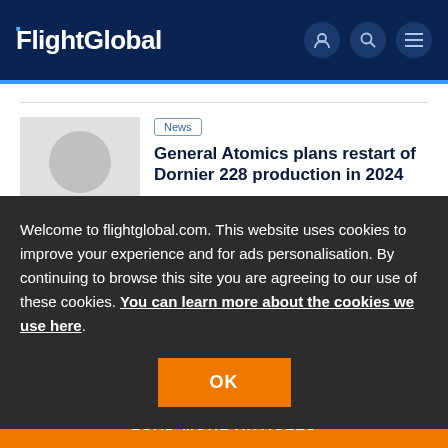FlightGlobal
News
General Atomics plans restart of Dornier 228 production in 2024
24 Jun 2022
Welcome to flightglobal.com. This website uses cookies to improve your experience and for ads personalisation. By continuing to browse this site you are agreeing to our use of these cookies. You can learn more about the cookies we use here.
OK
LOAD MORE ARTICLES